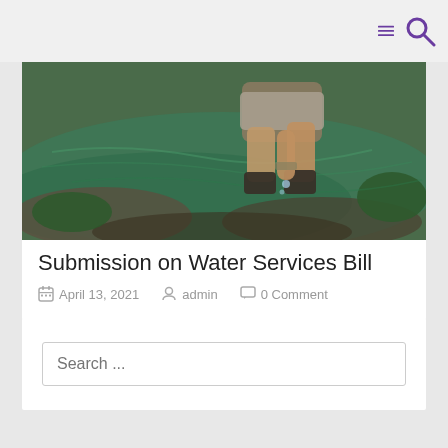[Figure (photo): Person crouching near a rocky stream with clear green water and mossy rocks, collecting or touching the water.]
Submission on Water Services Bill
April 13, 2021   admin   0 Comment